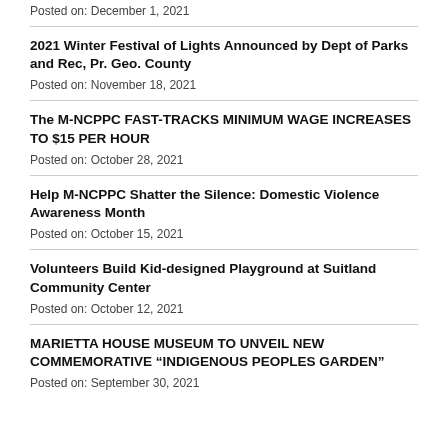Posted on: December 1, 2021
2021 Winter Festival of Lights Announced by Dept of Parks and Rec, Pr. Geo. County
Posted on: November 18, 2021
The M-NCPPC FAST-TRACKS MINIMUM WAGE INCREASES TO $15 PER HOUR
Posted on: October 28, 2021
Help M-NCPPC Shatter the Silence: Domestic Violence Awareness Month
Posted on: October 15, 2021
Volunteers Build Kid-designed Playground at Suitland Community Center
Posted on: October 12, 2021
MARIETTA HOUSE MUSEUM TO UNVEIL NEW COMMEMORATIVE “INDIGENOUS PEOPLES GARDEN”
Posted on: September 30, 2021